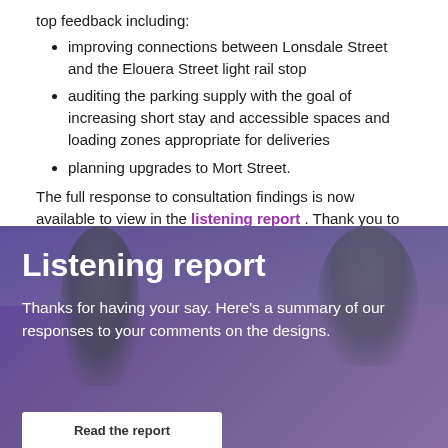top feedback including:
improving connections between Lonsdale Street and the Elouera Street light rail stop
auditing the parking supply with the goal of increasing short stay and accessible spaces and loading zones appropriate for deliveries
planning upgrades to Mort Street.
The full response to consultation findings is now available to view in the listening report . Thank you to everyone who participated.
[Figure (photo): Listening report banner image showing a street/plaza scene with trees and pedestrians, overlaid with purple tint. Title reads 'Listening report' with subtitle 'Thanks for having your say. Here’s a summary of our responses to your comments on the designs.' and a white Read the report button at bottom.]